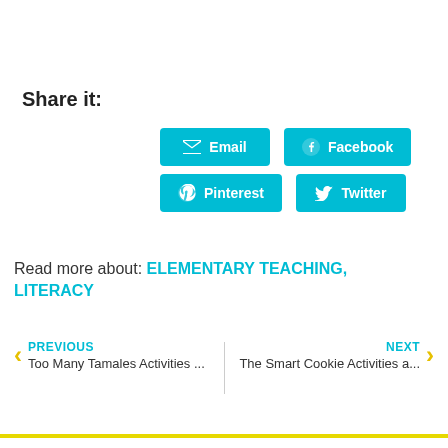Share it:
[Figure (infographic): Four social sharing buttons: Email, Facebook, Pinterest, Twitter — teal/cyan colored rectangles with icons and white bold text]
Read more about: ELEMENTARY TEACHING, LITERACY
PREVIOUS
Too Many Tamales Activities ...
NEXT
The Smart Cookie Activities a...